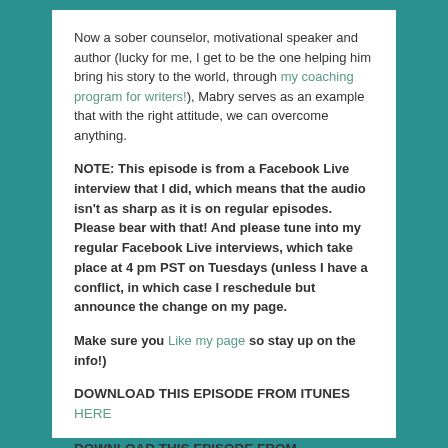Now a sober counselor, motivational speaker and author (lucky for me, I get to be the one helping him bring his story to the world, through my coaching program for writers!), Mabry serves as an example that with the right attitude, we can overcome anything.
NOTE: This episode is from a Facebook Live interview that I did, which means that the audio isn't as sharp as it is on regular episodes. Please bear with that! And please tune into my regular Facebook Live interviews, which take place at 4 pm PST on Tuesdays (unless I have a conflict, in which case I reschedule but announce the change on my page.
Make sure you Like my page so stay up on the info!)
DOWNLOAD THIS EPISODE FROM ITUNES HERE
DOWNLOAD THIS EPISODE FROM SOUNDCLOUD HERE